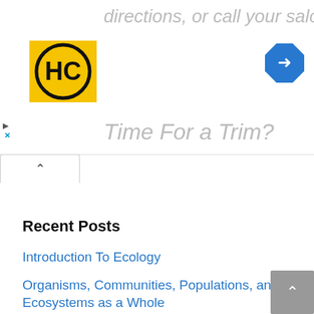[Figure (screenshot): Advertisement banner showing 'directions, or call your salon!' text with HC logo and navigation arrow icon, and 'Time For a Trim?' text below]
Recent Posts
Introduction To Ecology
Organisms, Communities, Populations, and Ecosystems as a Whole
Different Types of Ecology
Ecology Systems
Organisms of the same species in a location